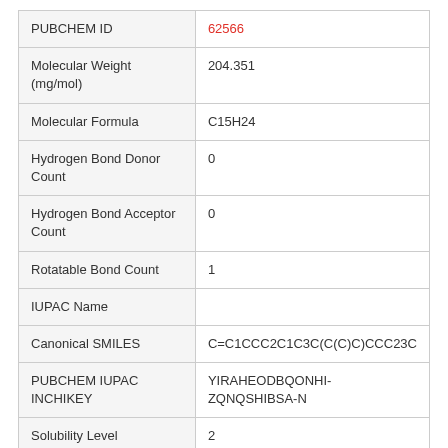| Property | Value |
| --- | --- |
| PUBCHEM ID | 62566 |
| Molecular Weight (mg/mol) | 204.351 |
| Molecular Formula | C15H24 |
| Hydrogen Bond Donor Count | 0 |
| Hydrogen Bond Acceptor Count | 0 |
| Rotatable Bond Count | 1 |
| IUPAC Name |  |
| Canonical SMILES | C=C1CCC2C1C3C(C(C)C)CCC23C |
| PUBCHEM IUPAC INCHIKEY | YIRAHEODBQONHI-ZQNQSHIBSA-N |
| Solubility Level | 2 |
| Vapour Pressure |  |